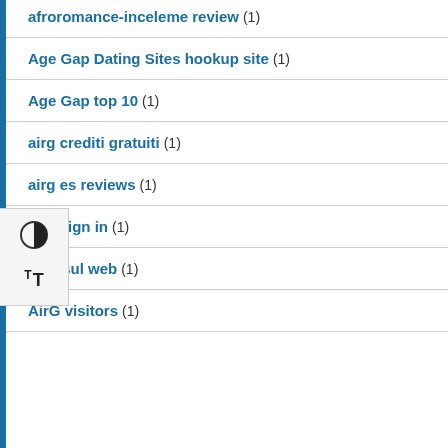afroromance-inceleme review (1)
Age Gap Dating Sites hookup site (1)
Age Gap top 10 (1)
airg crediti gratuiti (1)
airg es reviews (1)
airg sign in (1)
Airg sul web (1)
AirG visitors (1)